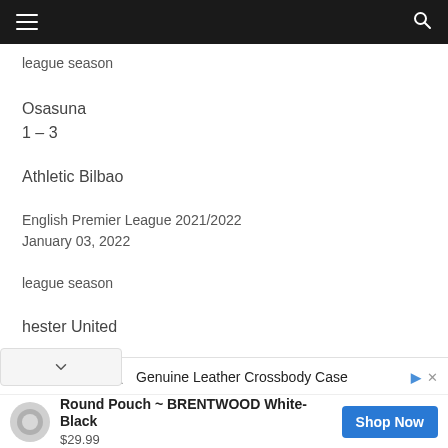Navigation bar with menu and search icons
league season
Osasuna
1 – 3
Athletic Bilbao
English Premier League 2021/2022
January 03, 2022
league season
hester United
[Figure (screenshot): Advertisement banner for Noemie California featuring a Genuine Leather Crossbody Case. Shows product: Round Pouch ~ BRENTWOOD White-Black at $29.99 with a Shop Now button.]